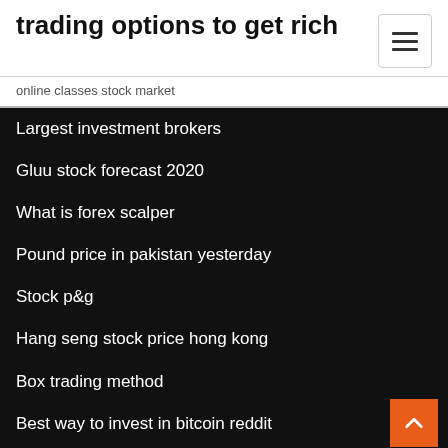trading options to get rich
online classes stock market
Largest investment brokers
Gluu stock forecast 2020
What is forex scalper
Pound price in pakistan yesterday
Stock p&g
Hang seng stock price hong kong
Box trading method
Best way to invest in bitcoin reddit
Chase you invest hidden fees
S&p equity futures